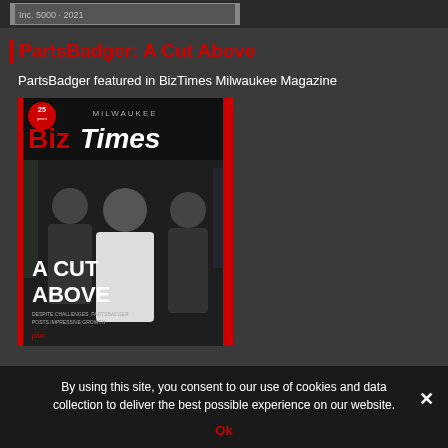[Figure (screenshot): Top bar with partial logo/banner image visible, dark background]
PartsBadger: A Cut Above
PartsBadger featured in BizTimes Milwaukee Magazine
[Figure (photo): BizTimes Milwaukee Magazine cover showing three people standing in a manufacturing facility. The cover headline reads 'A CUT ABOVE' with subtext 'Despite challenges, PartsBadger posts impressive growth'. The magazine masthead shows 'BizTimes Milwaukee' in large red and white text. '25 years' badge visible in upper left.]
By using this site, you consent to our use of cookies and data collection to deliver the best possible experience on our website.
Ok